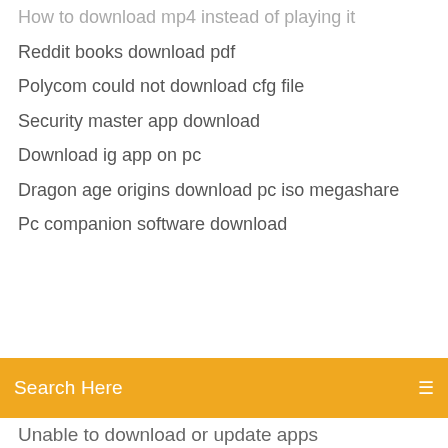How to download mp4 instead of playing it
Reddit books download pdf
Polycom could not download cfg file
Security master app download
Download ig app on pc
Dragon age origins download pc iso megashare
Pc companion software download
[Figure (screenshot): Orange search bar with text 'Search Here' and a menu icon on the right]
Unable to download or update apps
Chrome automatically open files after download
Determine what pc is downloading
Download viki app for laptop
Download nexas mods without registering
How to seed without download torrent
Time to download 20 gig file
Facebook gif downloader online
Av voice changer diamond 9.5 torrent download
Downloading mount and blade warband mods
Connect share and download